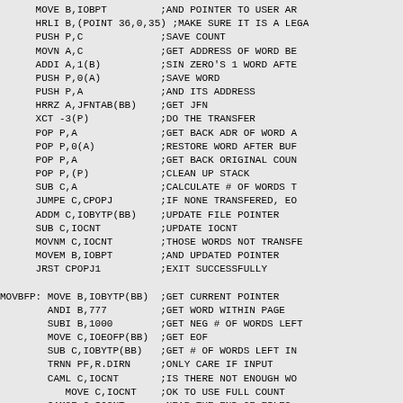Assembly code listing with instructions and comments including MOVE B,IOBPT; HRLI B,(POINT 36,0,35); PUSH P,C; MOVN A,C; ADDI A,1(B); PUSH P,0(A); PUSH P,A; HRRZ A,JFNTAB(BB); XCT -3(P); POP P,A; POP P,0(A); POP P,A; POP P,(P); SUB C,A; JUMPE C,CPOPJ; ADDM C,IOBYTP(BB); SUB C,IOCNT; MOVNM C,IOCNT; MOVEM B,IOBPT; JRST CPOPJ1; MOVBFP: MOVE B,IOBYTP(BB); ANDI B,777; SUBI B,1000; MOVE C,IOEOFP(BB); SUB C,IOBYTP(BB); TRNN PF,R.DIRN; CAML C,IOCNT; MOVE C,IOCNT; CAMGE C,IOCNT